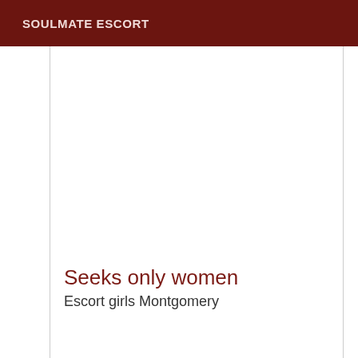SOULMATE ESCORT
Seeks only women
Escort girls Montgomery